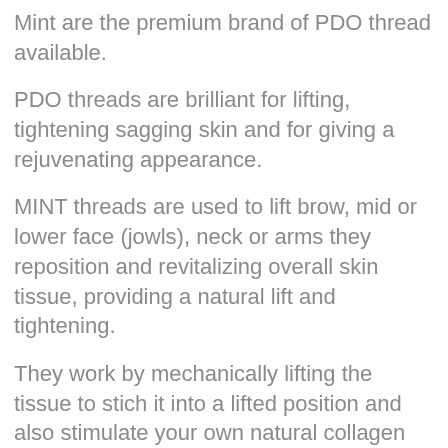Mint are the premium brand of PDO thread available.
PDO threads are brilliant for lifting, tightening sagging skin and for giving a rejuvenating appearance.
MINT threads are used to lift brow, mid or lower face (jowls), neck or arms they reposition and revitalizing overall skin tissue, providing a natural lift and tightening.
They work by mechanically lifting the tissue to stich it into a lifted position and also stimulate your own natural collagen production, to improve skin elasticity, texture, fine lines and volume for lasting rejuvenation.